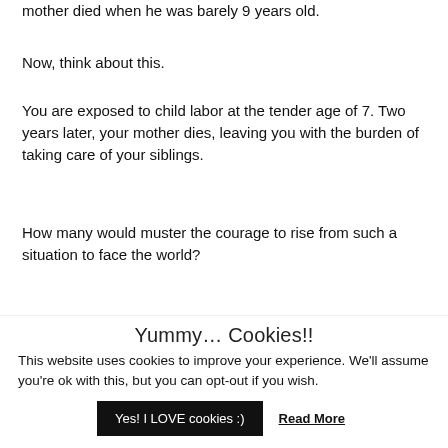mother died when he was barely 9 years old.
Now, think about this.
You are exposed to child labor at the tender age of 7. Two years later, your mother dies, leaving you with the burden of taking care of your siblings.
How many would muster the courage to rise from such a situation to face the world?
Yummy… Cookies!!
This website uses cookies to improve your experience. We'll assume you're ok with this, but you can opt-out if you wish.
Yes! I LOVE cookies :)
Read More